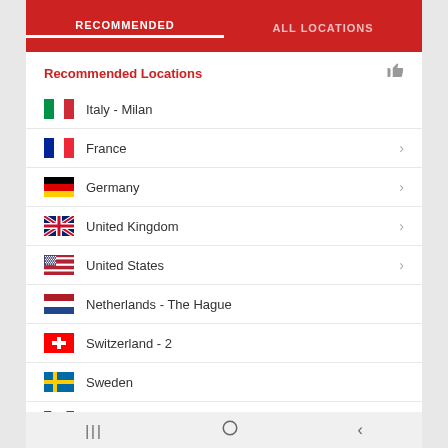RECOMMENDED | ALL LOCATIONS
Recommended Locations
Italy - Milan
France
Germany
United Kingdom
United States
Netherlands - The Hague
Switzerland - 2
Sweden
Canada - Toronto
Navigation bar (Android)